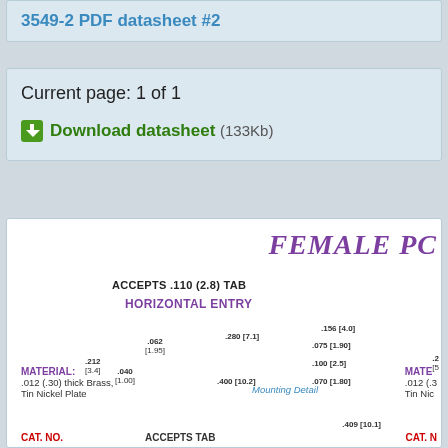3549-2 PDF datasheet #2
Current page: 1 of 1
Download datasheet (133Kb)
[Figure (engineering-diagram): FEMALE PC connector datasheet diagram showing HORIZONTAL ENTRY, ACCEPTS .110 (2.8) TAB with dimensions: .062 [1.95], .280 [7.1], .156 [4.0], .075 [1.90], .212 [3.4], .040 [1.00], .100 [2.5], .400 [10.2], .070 [1.80], MATERIAL: .012 (.30) thick Brass, Tin Nickel Plate, Mounting Detail, .409 [10.1], CAT. NO., ACCEPTS TAB labels]
MATERIAL: .012 (.30) thick Brass, Tin Nickel Plate
CAT. NO.   ACCEPTS TAB